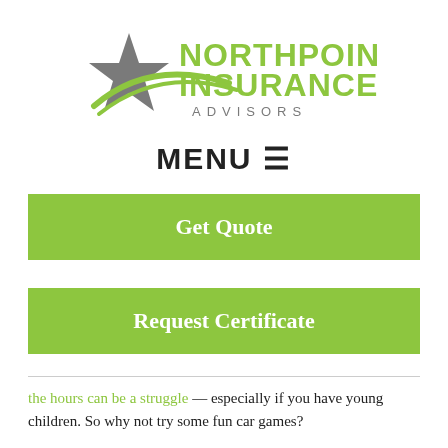[Figure (logo): Northpoint Insurance Advisors logo with gray star and green swoosh, green bold text reading NORTHPOINT INSURANCE and gray spaced text ADVISORS]
MENU ≡
Get Quote
Request Certificate
the hours can be a struggle — especially if you have young children. So why not try some fun car games?